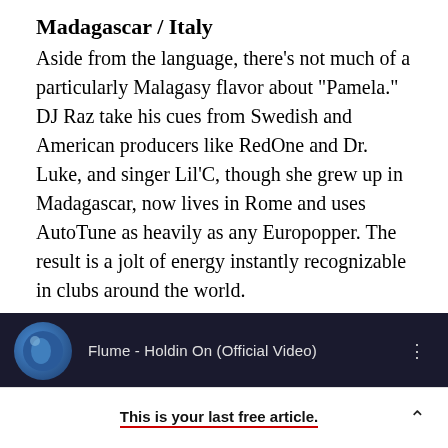Madagascar / Italy
Aside from the language, there's not much of a particularly Malagasy flavor about "Pamela." DJ Raz take his cues from Swedish and American producers like RedOne and Dr. Luke, and singer Lil'C, though she grew up in Madagascar, now lives in Rome and uses AutoTune as heavily as any Europopper. The result is a jolt of energy instantly recognizable in clubs around the world.
[Figure (screenshot): Video thumbnail showing Flume - Holdin On (Official Video) in a dark purple/navy background with a person visible on the left side]
This is your last free article.